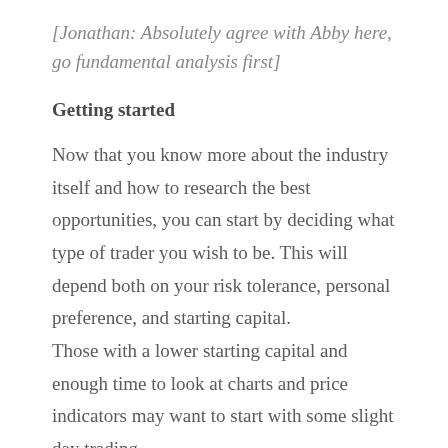[Jonathan: Absolutely agree with Abby here, go fundamental analysis first]
Getting started
Now that you know more about the industry itself and how to research the best opportunities, you can start by deciding what type of trader you wish to be. This will depend both on your risk tolerance, personal preference, and starting capital. Those with a lower starting capital and enough time to look at charts and price indicators may want to start with some slight day trading,